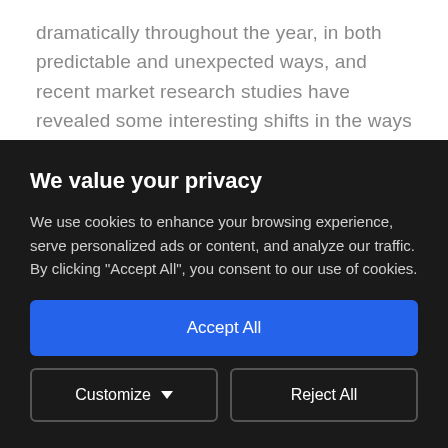dramatically throughout the year, in both predictable and unexpected ways, and recent market research studies have revealed some interesting shifts in the ways that people are buying and consuming music.
The headline news is that there's been a
We value your privacy
We use cookies to enhance your browsing experience, serve personalized ads or content, and analyze our traffic. By clicking "Accept All", you consent to our use of cookies.